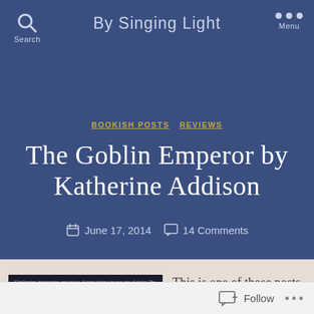By Singing Light
BOOKISH POSTS   REVIEWS
The Goblin Emperor by Katherine Addison
June 17, 2014   14 Comments
[Figure (photo): Book cover of The Goblin Emperor with a dark background and a quote by Scott Lynch]
This is one of those posts that I don't